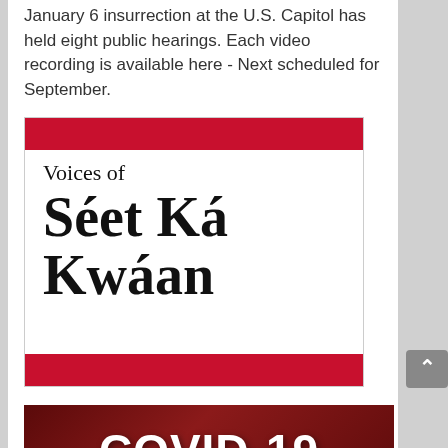January 6 insurrection at the U.S. Capitol has held eight public hearings. Each video recording is available here - Next scheduled for September.
[Figure (illustration): Voices of Séet Ká Kwáan - logo/banner image with red bars at top and bottom and large serif text on white background]
[Figure (illustration): COVID-19 Information banner with dark red/maroon background and bold white text]